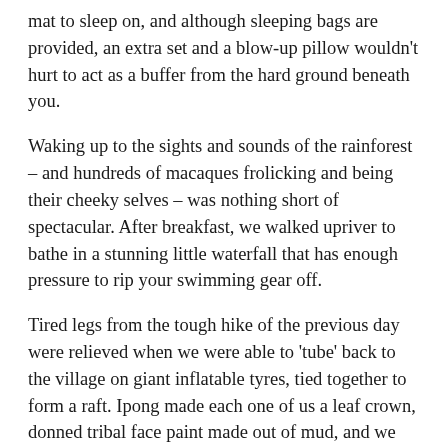mat to sleep on, and although sleeping bags are provided, an extra set and a blow-up pillow wouldn't hurt to act as a buffer from the hard ground beneath you.
Waking up to the sights and sounds of the rainforest – and hundreds of macaques frolicking and being their cheeky selves – was nothing short of spectacular. After breakfast, we walked upriver to bathe in a stunning little waterfall that has enough pressure to rip your swimming gear off.
Tired legs from the tough hike of the previous day were relieved when we were able to 'tube' back to the village on giant inflatable tyres, tied together to form a raft. Ipong made each one of us a leaf crown, donned tribal face paint made out of mud, and we were off downstream. Tubing gives you a completely different perspective of the forest, actually allowing you to see it rather than be right in the thick of it.
Of all the trips I've done in Indonesia, this one takes the cake. It